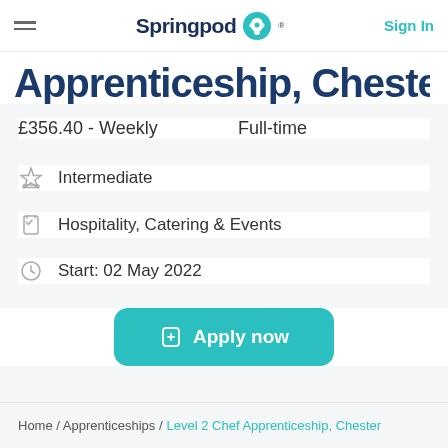Springpod — Sign In
Apprenticeship, Chester
£356.40 - Weekly    Full-time
Intermediate
Hospitality, Catering & Events
Start: 02 May 2022
Apply now
Home / Apprenticeships / Level 2 Chef Apprenticeship, Chester